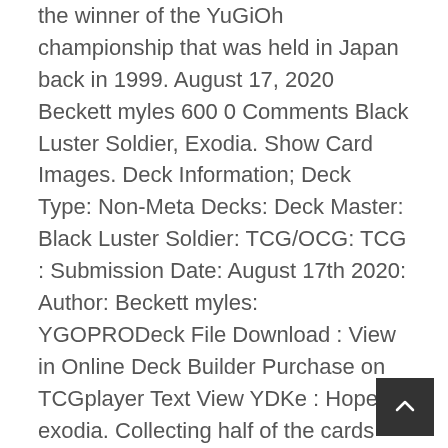the winner of the YuGiOh championship that was held in Japan back in 1999. August 17, 2020 Beckett myles 600 0 Comments Black Luster Soldier, Exodia. Show Card Images. Deck Information; Deck Type: Non-Meta Decks: Deck Master: Black Luster Soldier: TCG/OCG: TCG : Submission Date: August 17th 2020: Author: Beckett myles: YGOPRODeck File Download : View in Online Deck Builder Purchase on TCGplayer Text View YDKe : Hope for exodia. Collecting half of the cards from this pack is one of the requirements for unlocking Mako Tsunami. Currently unavailable. This pack is available from the beginning of the game. Types: Warrior / Link / Effect. 9 million USD.) Free shipping . GX anime, that includes "Black Luster Soldier" and monsters based on it who